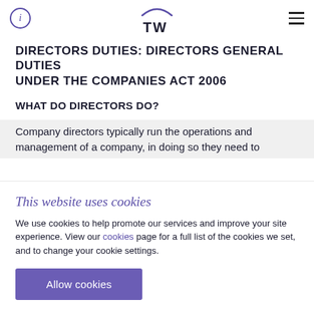TW — navigation header
DIRECTORS DUTIES: DIRECTORS GENERAL DUTIES UNDER THE COMPANIES ACT 2006
WHAT DO DIRECTORS DO?
Company directors typically run the operations and management of a company, in doing so they need to
This website uses cookies
We use cookies to help promote our services and improve your site experience. View our cookies page for a full list of the cookies we set, and to change your cookie settings.
Allow cookies